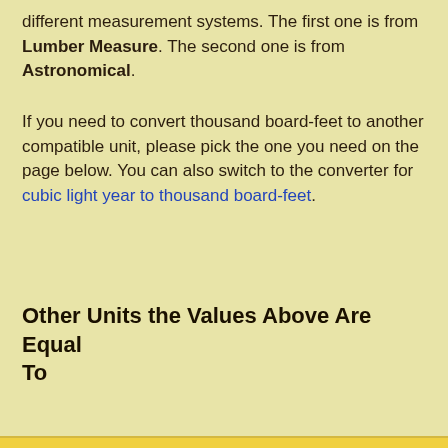different measurement systems. The first one is from Lumber Measure. The second one is from Astronomical.
If you need to convert thousand board-feet to another compatible unit, please pick the one you need on the page below. You can also switch to the converter for cubic light year to thousand board-feet.
Other Units the Values Above Are Equal To